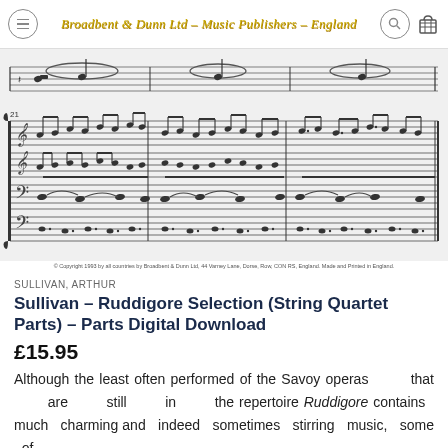Broadbent & Dunn Ltd – Music Publishers – England
[Figure (illustration): Sheet music excerpt showing four-part string quartet notation across two systems, with measure numbers and musical notation including notes, ties, and dynamic markings]
© Copyright 1993 by all countries by Broadbent & Dunn Ltd, 44 Varney Lane, Dorse, Row, CON RS, England. Made and Printed in England.
SULLIVAN, ARTHUR
Sullivan – Ruddigore Selection (String Quartet Parts) – Parts Digital Download
£15.95
Although the least often performed of the Savoy operas that are still in the repertoire Ruddigore contains much charming and indeed sometimes stirring music, some of